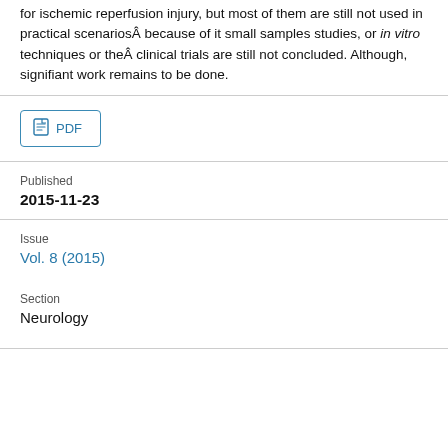for ischemic reperfusion injury, but most of them are still not used in practical scenariosÂ because of it small samples studies, or in vitro techniques or theÂ clinical trials are still not concluded. Although, signifiant work remains to be done.
PDF
Published
2015-11-23
Issue
Vol. 8 (2015)
Section
Neurology